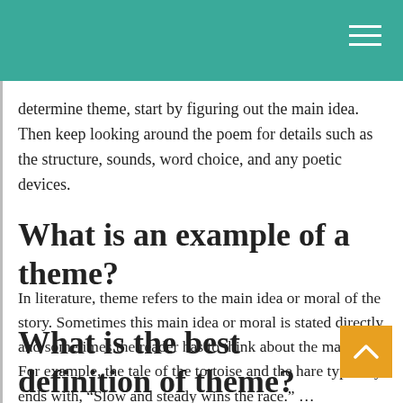determine theme, start by figuring out the main idea. Then keep looking around the poem for details such as the structure, sounds, word choice, and any poetic devices.
What is an example of a theme?
In literature, theme refers to the main idea or moral of the story. Sometimes this main idea or moral is stated directly, and sometimes the reader has to think about the main idea. For example, the tale of the tortoise and the hare typically ends with, “Slow and steady wins the race.” …
What is the best definition of theme?